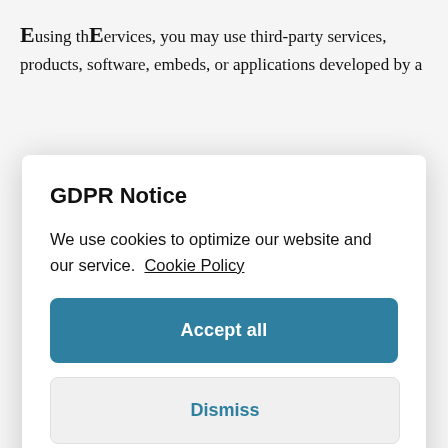Eusing the Eervices, you may use third-party services, products, software, embeds, or applications developed by a
GDPR Notice
We use cookies to optimize our website and our service.  Cookie Policy
Accept all
Dismiss
Preferences